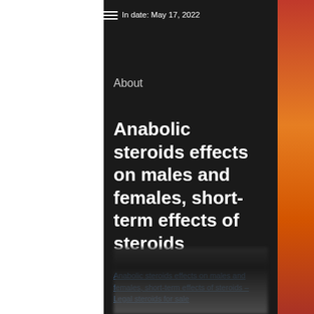In date: May 17, 2022
About
Anabolic steroids effects on males and females, short-term effects of steroids
Anabolic steroids effects on males and females, short-term effects of steroids – Legal steroids for sale
[Figure (photo): Blurred/obscured photograph at the bottom of the page]